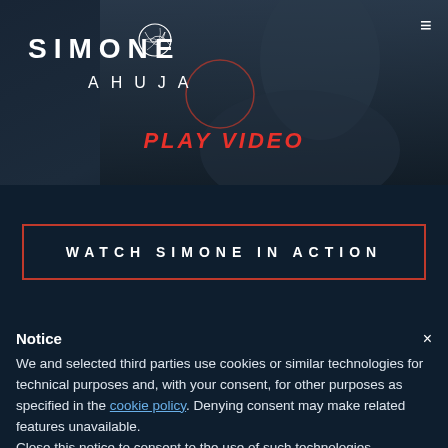[Figure (screenshot): Screenshot of website for Simone Ahuja. Dark background hero image showing a woman speaking, with 'PLAY VIDEO' text overlay in red italic letters. Navigation bar shows 'SIMONE AHUJA' logo and hamburger menu icon.]
WATCH SIMONE IN ACTION
Notice
We and selected third parties use cookies or similar technologies for technical purposes and, with your consent, for other purposes as specified in the cookie policy. Denying consent may make related features unavailable.
Close this notice to consent to the use of such technologies.